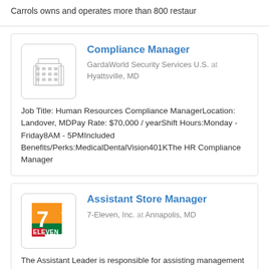Carrols owns and operates more than 800 restaur
Compliance Manager
GardaWorld Security Services U.S. at Hyattsville, MD
Job Title: Human Resources Compliance ManagerLocation: Landover, MDPay Rate: $70,000 / yearShift Hours:Monday - Friday8AM - 5PMIncluded Benefits/Perks:MedicalDentalVision401KThe HR Compliance Manager
Assistant Store Manager
7-Eleven, Inc. at Annapolis, MD
The Assistant Leader is responsible for assisting management with overall store